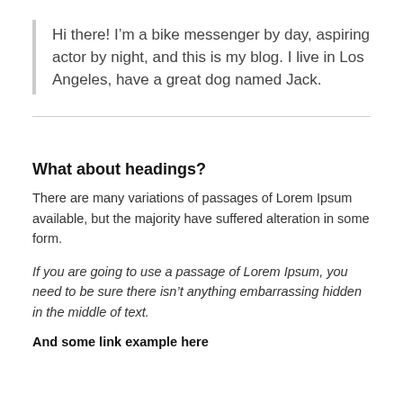Hi there! I’m a bike messenger by day, aspiring actor by night, and this is my blog. I live in Los Angeles, have a great dog named Jack.
What about headings?
There are many variations of passages of Lorem Ipsum available, but the majority have suffered alteration in some form.
If you are going to use a passage of Lorem Ipsum, you need to be sure there isn’t anything embarrassing hidden in the middle of text.
And some link example here